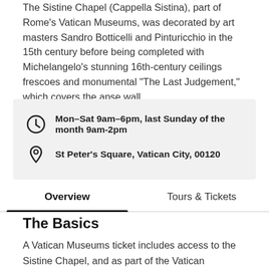The Sistine Chapel (Cappella Sistina), part of Rome's Vatican Museums, was decorated by art masters Sandro Botticelli and Pinturicchio in the 15th century before being completed with Michelangelo's stunning 16th-century ceilings frescoes and monumental "The Last Judgement," which covers the apse wall. Learn more
Mon–Sat 9am–6pm, last Sunday of the month 9am-2pm
St Peter's Square, Vatican City, 00120
Overview
Tours & Tickets
The Basics
A Vatican Museums ticket includes access to the Sistine Chapel, and as part of the Vatican Museums, the chapel cannot be visited on its own and can only be entered… Show all